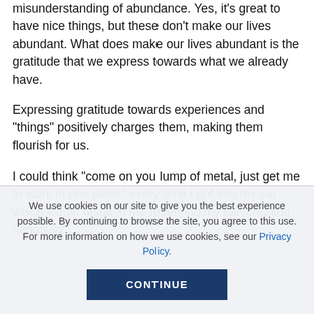misunderstanding of abundance. Yes, it's great to have nice things, but these don't make our lives abundant. What does make our lives abundant is the gratitude that we express towards what we already have.
Expressing gratitude towards experiences and “things” positively charges them, making them flourish for us.
I could think “come on you lump of metal, just get me to work in one piece” every time I got into my car which would result in me resenting my car, creating negativity
We use cookies on our site to give you the best experience possible. By continuing to browse the site, you agree to this use. For more information on how we use cookies, see our Privacy Policy.
CONTINUE